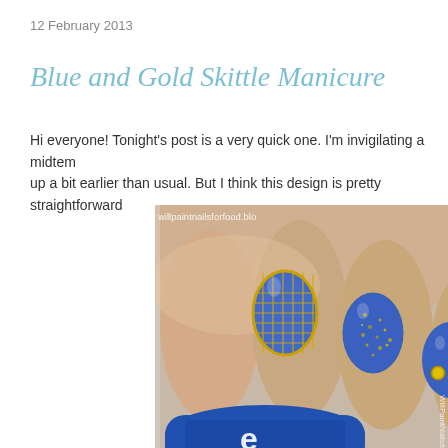12 February 2013
Blue and Gold Skittle Manicure
Hi everyone! Tonight's post is a very quick one. I'm invigilating a midtem up a bit earlier than usual. But I think this design is pretty straightforward
[Figure (photo): Close-up photo of a hand with blue and gold skittle manicure. One nail has a blue base with gold net/scale stamping pattern, another nail is blue with gold glitter, and a third nail is solid blue with gold metallic studs. A blue nail polish bottle is partially visible in the foreground. Watermark reads willpaintnailsforfood.blo]